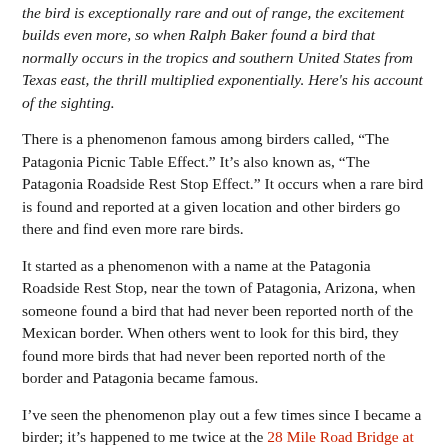the bird is exceptionally rare and out of range, the excitement builds even more, so when Ralph Baker found a bird that normally occurs in the tropics and southern United States from Texas east, the thrill multiplied exponentially. Here's his account of the sighting.
There is a phenomenon famous among birders called, “The Patagonia Picnic Table Effect.” It’s also known as, “The Patagonia Roadside Rest Stop Effect.” It occurs when a rare bird is found and reported at a given location and other birders go there and find even more rare birds.
It started as a phenomenon with a name at the Patagonia Roadside Rest Stop, near the town of Patagonia, Arizona, when someone found a bird that had never been reported north of the Mexican border. When others went to look for this bird, they found more birds that had never been reported north of the border and Patagonia became famous.
I’ve seen the phenomenon play out a few times since I became a birder; it’s happened to me twice at the 28 Mile Road Bridge at Woodward Reservoir, in Stanislaus County. Sunday, August 30, was the second time.